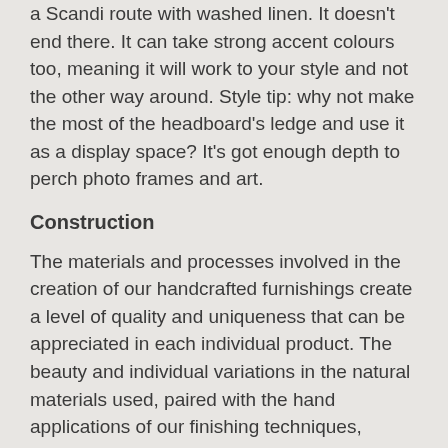a Scandi route with washed linen. It doesn't end there. It can take strong accent colours too, meaning it will work to your style and not the other way around. Style tip: why not make the most of the headboard's ledge and use it as a display space? It's got enough depth to perch photo frames and art.
Construction
The materials and processes involved in the creation of our handcrafted furnishings create a level of quality and uniqueness that can be appreciated in each individual product. The beauty and individual variations in the natural materials used, paired with the hand applications of our finishing techniques, create a warmth and comfort that cannot be replicated by machines.
Materials
Curated Material Selection - Our materials are